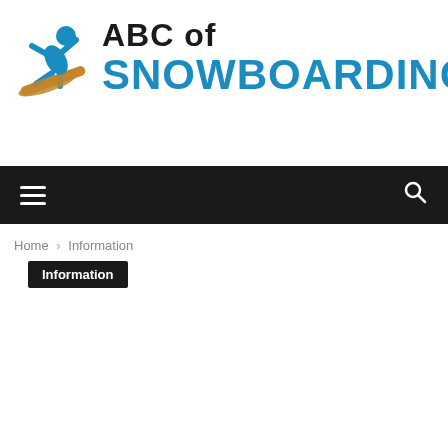[Figure (logo): ABC of Snowboarding logo with snowboarder icon in teal/blue and text 'ABC of SNOWBOARDING']
[Figure (other): Dark navigation bar with hamburger menu icon on left and search icon on right]
Home › Information
Information